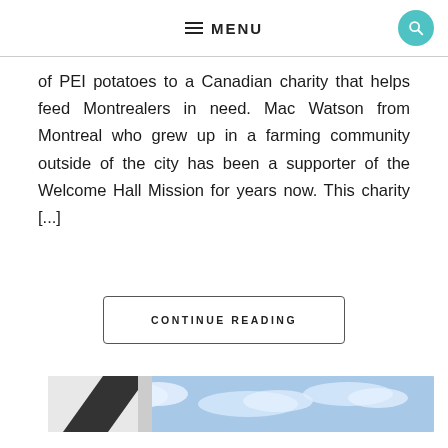MENU
of PEI potatoes to a Canadian charity that helps feed Montrealers in need. Mac Watson from Montreal who grew up in a farming community outside of the city has been a supporter of the Welcome Hall Mission for years now. This charity [...]
CONTINUE READING
[Figure (photo): Architectural photo showing corner of a modern building with blue cloudy sky background]